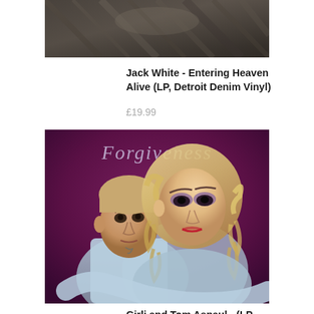[Figure (photo): Top portion of Jack White – Entering Heaven Alive vinyl LP album cover showing dark abstract/wooden textures]
Jack White - Entering Heaven Alive (LP, Detroit Denim Vinyl)
£19.99
[Figure (photo): Album cover for Forgiveness showing two people – a young man with short hair and a woman with long curly blonde hair and dramatic makeup – against a dark purple background with decorative Forgiveness text at top]
Girli and Tom Aspaul - (LP, Colour Vinyl)